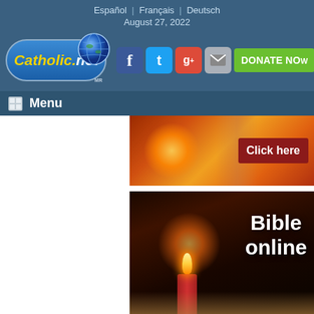Español | Français | Deutsch
August 27, 2022
[Figure (logo): Catholic.net logo with globe icon]
[Figure (infographic): Social media icons: Facebook, Twitter, Google+, Mail, and DONATE NOW button]
Menu
[Figure (photo): Banner image with Click here button]
[Figure (photo): Bible online banner with candle and open bible]